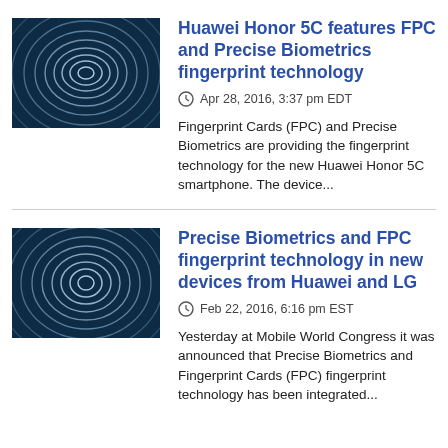[Figure (photo): Close-up of a fingerprint swirl pattern on dark blue background]
Huawei Honor 5C features FPC and Precise Biometrics fingerprint technology
Apr 28, 2016, 3:37 pm EDT
Fingerprint Cards (FPC) and Precise Biometrics are providing the fingerprint technology for the new Huawei Honor 5C smartphone. The device...
[Figure (photo): Close-up of a fingerprint swirl pattern on dark blue background]
Precise Biometrics and FPC fingerprint technology in new devices from Huawei and LG
Feb 22, 2016, 6:16 pm EST
Yesterday at Mobile World Congress it was announced that Precise Biometrics and Fingerprint Cards (FPC) fingerprint technology has been integrated...